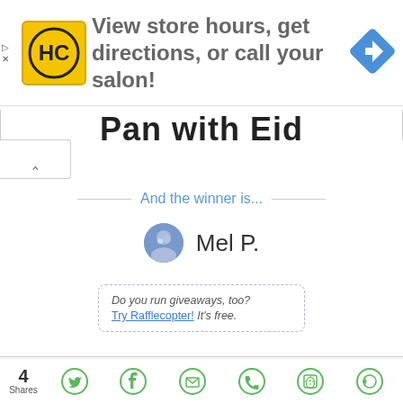[Figure (screenshot): Advertisement banner: HC Salon logo (yellow square with HC text), text 'View store hours, get directions, or call your salon!', blue navigation diamond icon on right]
Pan with Eid
And the winner is...
Mel P.
Do you run giveaways, too? Try Rafflecopter! It's free.
powered by Rafflecopter
4 Shares